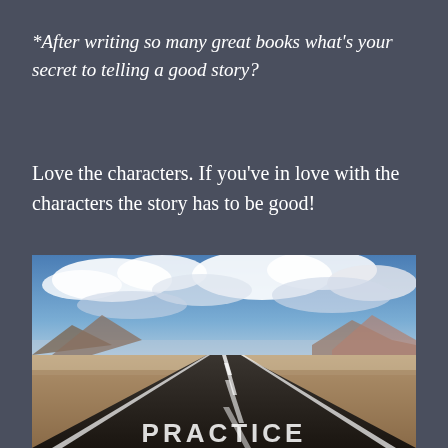*After writing so many great books what's your secret to telling a good story?
Love the characters. If you've in love with the characters the story has to be good!
[Figure (photo): A long straight road stretching to the horizon through a desert landscape with mountains in the background under a cloudy blue sky. The word PRACTICE is visible on the road surface in the foreground.]